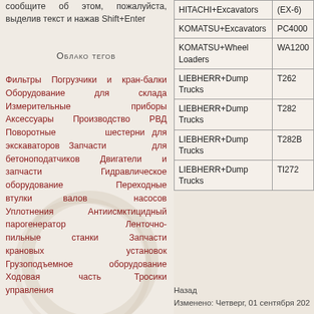сообщите об этом, пожалуйста, выделив текст и нажав Shift+Enter
Облако тегов
Фильтры Погрузчики и кран-балки Оборудование для склада Измерительные приборы Аксессуары Производство РВД Поворотные шестерни для экскаваторов Запчасти для бетоноподатчиков Двигатели и запчасти Гидравлическое оборудование Переходные втулки валов насосов Уплотнения Антиисмктицидный парогенератор Ленточно-пильные станки Запчасти крановых установок Грузоподъемное оборудование Ходовая часть Тросики управления
|  |  |
| --- | --- |
| HITACHI+Excavators | (EX-6) |
| KOMATSU+Excavators | PC4000 |
| KOMATSU+Wheel Loaders | WA1200 |
| LIEBHERR+Dump Trucks | T262 |
| LIEBHERR+Dump Trucks | T282 |
| LIEBHERR+Dump Trucks | T282B |
| LIEBHERR+Dump Trucks | TI272 |
Информа
Назад
Изменено: Четверг, 01 сентября 202